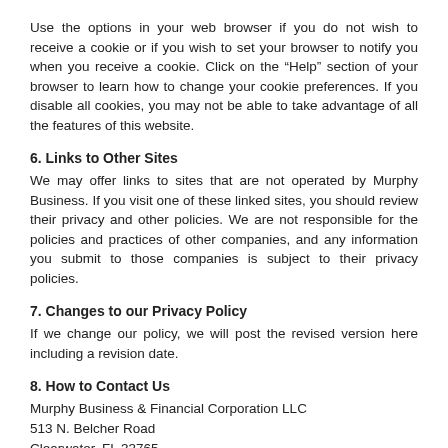Use the options in your web browser if you do not wish to receive a cookie or if you wish to set your browser to notify you when you receive a cookie. Click on the “Help” section of your browser to learn how to change your cookie preferences. If you disable all cookies, you may not be able to take advantage of all the features of this website.
6. Links to Other Sites
We may offer links to sites that are not operated by Murphy Business. If you visit one of these linked sites, you should review their privacy and other policies. We are not responsible for the policies and practices of other companies, and any information you submit to those companies is subject to their privacy policies.
7. Changes to our Privacy Policy
If we change our policy, we will post the revised version here including a revision date.
8. How to Contact Us
Murphy Business & Financial Corporation LLC
513 N. Belcher Road
Clearwater, FL 33765
Telephone: (727) 725-7090